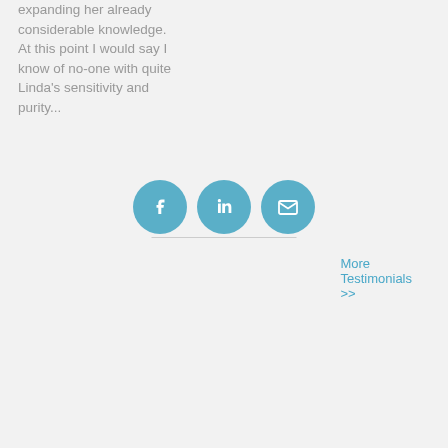expanding her already considerable knowledge. At this point I would say I know of no-one with quite Linda's sensitivity and purity...
More Testimonials >>
[Figure (infographic): Three circular social media/contact icons: Facebook (f), LinkedIn (in), and Email (envelope), colored in steel blue, arranged horizontally with a thin horizontal line beneath them.]